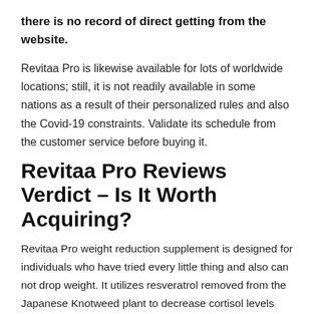there is no record of direct getting from the website.
Revitaa Pro is likewise available for lots of worldwide locations; still, it is not readily available in some nations as a result of their personalized rules and also the Covid-19 constraints. Validate its schedule from the customer service before buying it.
Revitaa Pro Reviews Verdict – Is It Worth Acquiring?
Revitaa Pro weight reduction supplement is designed for individuals who have tried every little thing and also can not drop weight. It utilizes resveratrol removed from the Japanese Knotweed plant to decrease cortisol levels that straight manage the tension degrees and metabolic rate in the body. Normal use of this supplement leads to enhanced metabolic and cardiac health that at some point lowers the threat of obesity-linked issues that are the primary leading risk factors for reduced health.